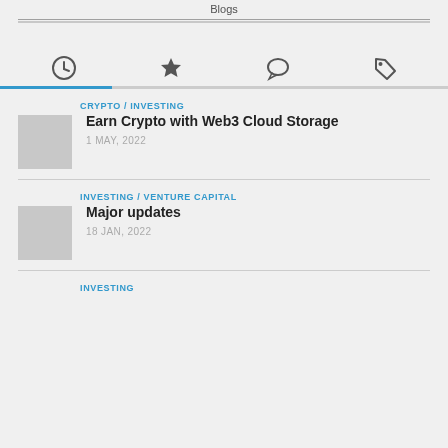Blogs
[Figure (infographic): Navigation tabs row with four icons: clock (recent/history), star (favorites), speech bubble (comments), tag (tags). The clock tab has a blue underline indicating it is active.]
CRYPTO / INVESTING
Earn Crypto with Web3 Cloud Storage
1 MAY, 2022
INVESTING / VENTURE CAPITAL
Major updates
18 JAN, 2022
INVESTING